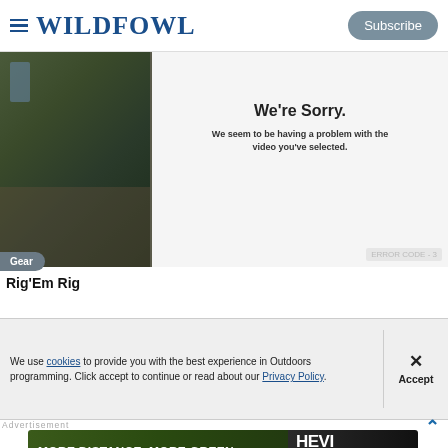WILDFOWL — Subscribe
[Figure (screenshot): Video thumbnail showing outdoor scene with person, with play button visible. An error overlay panel shows 'We're Sorry. We seem to be having a problem with the video you've selected.' with error code at bottom right.]
Gear
Rig'Em Rig
We use cookies to provide you with the best experience in Outdoors programming. Click accept to continue or read about our Privacy Policy.
Advertisement
[Figure (photo): Hevi-Shot Hevi Metal advertisement banner: MORE DISTANCE. MORE GREEN. HEVI-SHOT on left side with hunting scene; HEVI METAL LONGER RANGE. BANG DEAD. on right side.]